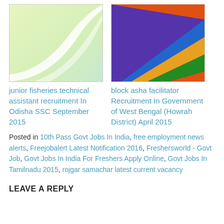[Figure (illustration): Light green and yellow background with a white curved arc shape on the left side]
[Figure (illustration): Rainbow-colored diagonal stripes in purple, blue, yellow/orange, green, and red/orange]
junior fisheries technical assistant recruitment In Odisha SSC September 2015
block asha facilitator Recruitment In Government of West Bengal (Howrah District) April 2015
Posted in 10th Pass Govt Jobs In India, free employment news alerts, Freejobalert Latest Notification 2016, Freshersworld - Govt Job, Govt Jobs In India For Freshers Apply Online, Govt Jobs In Tamilnadu 2015, rojgar samachar latest current vacancy
LEAVE A REPLY